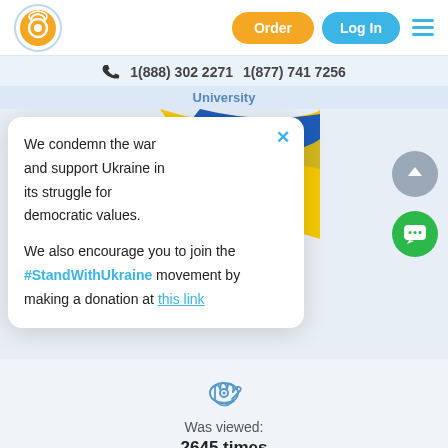[Figure (logo): Orange circular logo with white 'e' and signal waves]
Order
Log In
1(888) 302 2271   1(877) 741 7256
University
We condemn the war and support Ukraine in its struggle for democratic values.

We also encourage you to join the #StandWithUkraine movement by making a donation at this link
[Figure (illustration): Ukrainian flag ribbon in blue and yellow swirling pattern]
[Figure (other): Gray scroll-to-top circular button with up arrow]
[Figure (other): Green circular chat button with three dots]
[Figure (other): Hand/eye icon representing view count]
Was viewed:
2645 times